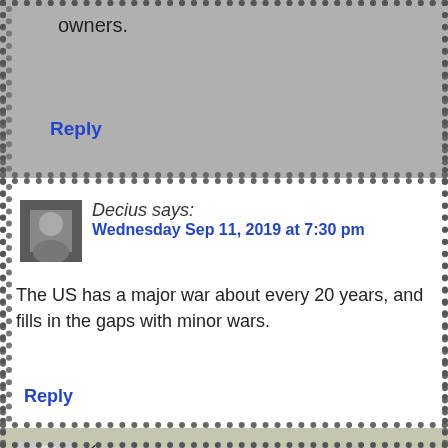owners.
Reply
Decius says:
Wednesday Sep 11, 2019 at 7:30 pm
The US has a major war about every 20 years, and fills in the gaps with minor wars.
Reply
Kincajou says:
Wednesday Sep 11, 2019 at 3:29 am
Thank you (both) for an interesting read!
Societally, what effects do you reckon prohibition had? Is it really the romanticised version that everyone is fed across the pond (at a cursory glance, of course)